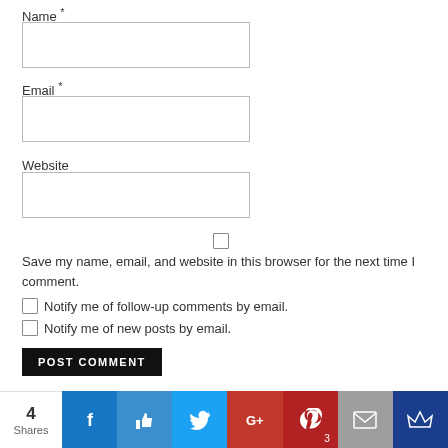Name *
[Figure (other): Empty text input field for Name]
Email *
[Figure (other): Empty text input field for Email]
Website
[Figure (other): Empty text input field for Website]
[Figure (other): Checkbox unchecked]
Save my name, email, and website in this browser for the next time I comment.
Notify me of follow-up comments by email.
Notify me of new posts by email.
POST COMMENT
[Figure (infographic): Social sharing bar with 4 Shares, Facebook, Like, Twitter, Google+, Pinterest (3), Email, and Crown icons]